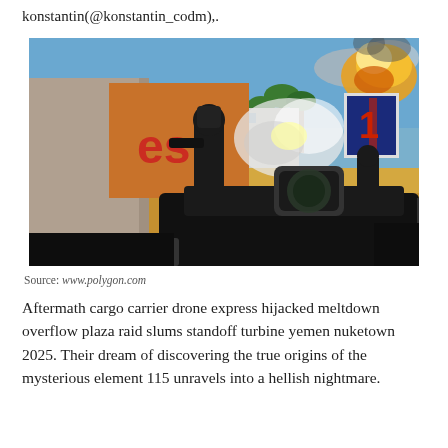konstantin(@konstantin_codm),.
[Figure (photo): Screenshot from a first-person shooter video game (Call of Duty) showing a player holding a rifle, with a soldier enemy running ahead in an urban outdoor environment with explosions, palm trees, buildings, and a billboard in the background.]
Source: www.polygon.com
Aftermath cargo carrier drone express hijacked meltdown overflow plaza raid slums standoff turbine yemen nuketown 2025. Their dream of discovering the true origins of the mysterious element 115 unravels into a hellish nightmare.